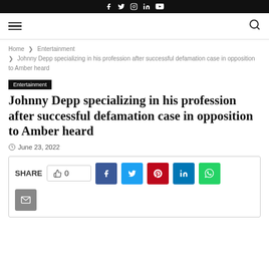Social media icons: Facebook, Twitter, Instagram, LinkedIn, YouTube
Navigation bar with hamburger menu and search icon
Home > Entertainment > Johnny Depp specializing in his profession after successful defamation case in opposition to Amber heard
Entertainment
Johnny Depp specializing in his profession after successful defamation case in opposition to Amber heard
June 23, 2022
SHARE 0 [Facebook] [Twitter] [Pinterest] [LinkedIn] [WhatsApp] [Email]